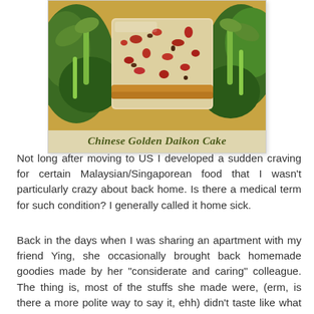[Figure (photo): Close-up photo of Chinese Golden Daikon Cake – pan-fried radish cake pieces with visible red bits (Chinese sausage/lap cheong), surrounded by green vegetables (bok choy), on a golden/yellow surface. Text overlay at bottom reads 'Chinese Golden Daikon Cake'.]
Not long after moving to US I developed a sudden craving for certain Malaysian/Singaporean food that I wasn't particularly crazy about back home. Is there a medical term for such condition? I generally called it home sick.
Back in the days when I was sharing an apartment with my friend Ying, she occasionally brought back homemade goodies made by her "considerate and caring" colleague. The thing is, most of the stuffs she made were, (erm, is there a more polite way to say it, ehh) didn't taste like what they were